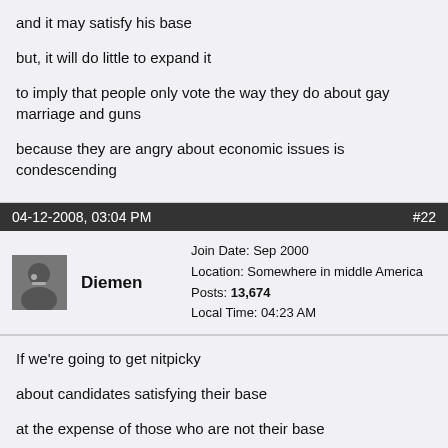and it may satisfy his base
but, it will do little to expand it
to imply that people only vote the way they do about gay marriage and guns
because they are angry about economic issues is condescending
04-12-2008, 03:04 PM   #22
Diemen   Join Date: Sep 2000  Location: Somewhere in middle America  Posts: 13,674  Local Time: 04:23 AM
If we're going to get nitpicky
about candidates satisfying their base
at the expense of those who are not their base